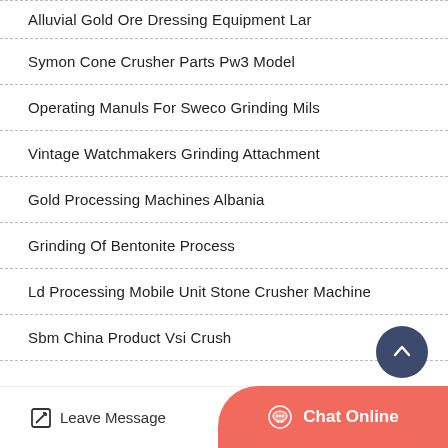Alluvial Gold Ore Dressing Equipment Lar
Symon Cone Crusher Parts Pw3 Model
Operating Manuls For Sweco Grinding Mils
Vintage Watchmakers Grinding Attachment
Gold Processing Machines Albania
Grinding Of Bentonite Process
Ld Processing Mobile Unit Stone Crusher Machine
Sbm China Product Vsi Crush
Leave Message  Chat Online